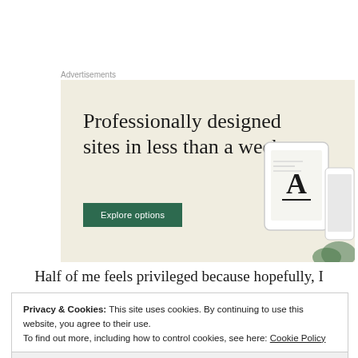Advertisements
[Figure (screenshot): Advertisement banner with beige background showing the headline 'Professionally designed sites in less than a week', a green 'Explore options' button, and a device mockup illustration on the right.]
Half of me feels privileged because hopefully, I
Privacy & Cookies: This site uses cookies. By continuing to use this website, you agree to their use.
To find out more, including how to control cookies, see here: Cookie Policy
Close and accept
thing, but being a brown skin Latina with thick